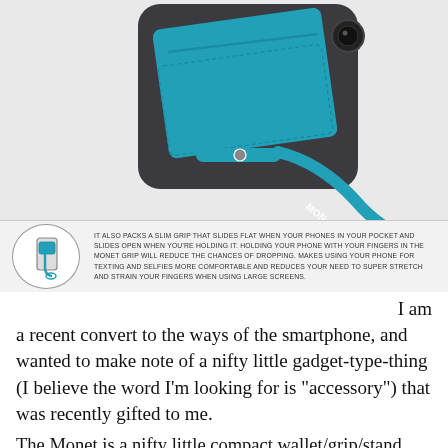[Figure (photo): Product photo of a teal/blue Monet wallet-grip-stand attached to the back of a dark smartphone case, shown at an angle with the finger strap extended. Below the main photo is a smaller circular inset diagram of the grip mechanism alongside descriptive text.]
IT ALSO PACKS A SLIM GRIP THAT SLIDES FLAT WHEN YOUR PHONES IN YOUR POCKET AND SLIDES OPEN WHEN YOU'RE HOLDING IT. HOLDING YOUR PHONE WITH YOUR FINGERS IN THE MONET GRIP WILL REDUCE THE CHANCES OF DROPPING. MAKES USING YOUR PHONE FOR TEXTING AND SELFIES MORE COMFORTABLE AND REDUCES YOUR NEED TO SUPER STRETCH AND STRAIN YOUR FINGERS WHEN USING LARGE SCREENS.
I am a recent convert to the ways of the smartphone, and wanted to make note of a nifty little gadget-type-thing (I believe the word I'm looking for is "accessory") that was recently gifted to me.
The Monet is a nifty little compact wallet/grip/stand that sticks to the back of your cellphone (or cellphone